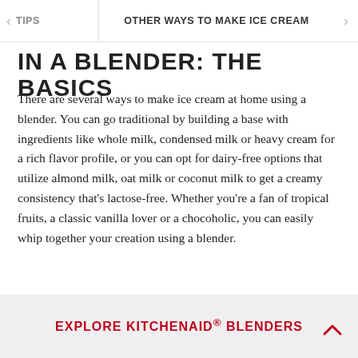TIPS | OTHER WAYS TO MAKE ICE CREAM
IN A BLENDER: THE BASICS
There are several ways to make ice cream at home using a blender. You can go traditional by building a base with ingredients like whole milk, condensed milk or heavy cream for a rich flavor profile, or you can opt for dairy-free options that utilize almond milk, oat milk or coconut milk to get a creamy consistency that's lactose-free. Whether you're a fan of tropical fruits, a classic vanilla lover or a chocoholic, you can easily whip together your creation using a blender.
EXPLORE KITCHENAID® BLENDERS